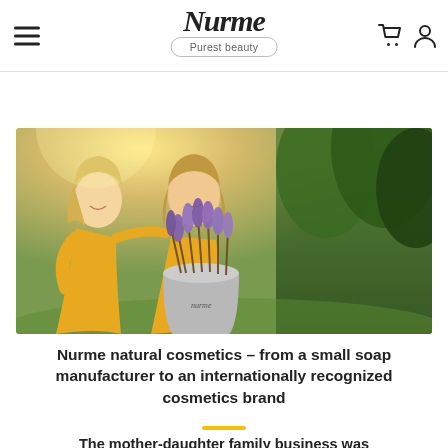absorbed through the skin into our
Nurme — Purest beauty
[Figure (photo): Two women in yellow dresses smiling, one holding a metal bucket full of lavender, outdoors with green trees in background]
Nurme natural cosmetics – from a small soap manufacturer to an internationally recognized cosmetics brand
The mother-daughter family business was